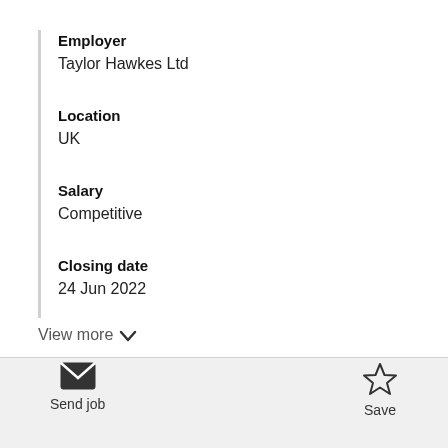Employer
Taylor Hawkes Ltd
Location
UK
Salary
Competitive
Closing date
24 Jun 2022
View more
Send job
Save